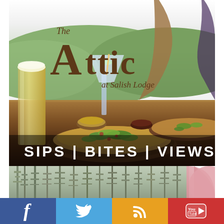[Figure (photo): The Attic at Salish Lodge advertisement. Top portion shows an overhead restaurant scene with drinks (beer glass, cocktail, red wine in martini glass), multiple plates of flatbread/pizza with greens on a dark wood table, with green forested hills visible through windows in background. Text overlay reads 'The Attic at Salish Lodge' as logo, and 'SIPS | BITES | VIEWS' as tagline. Below is a strip photo of bare winter trees. Bottom bar has four social media buttons: Facebook (blue), Twitter (light blue), RSS (orange/amber), YouTube (red).]
The Attic at Salish Lodge
SIPS | BITES | VIEWS